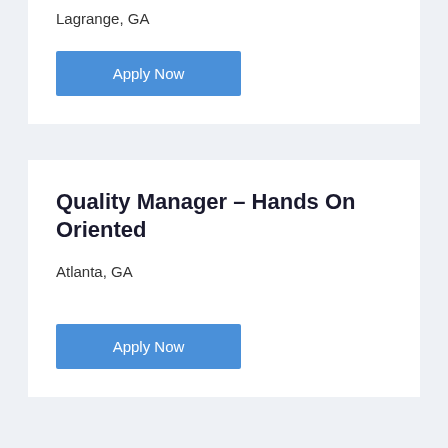Lagrange, GA
Apply Now
Quality Manager – Hands On Oriented
Atlanta, GA
Apply Now